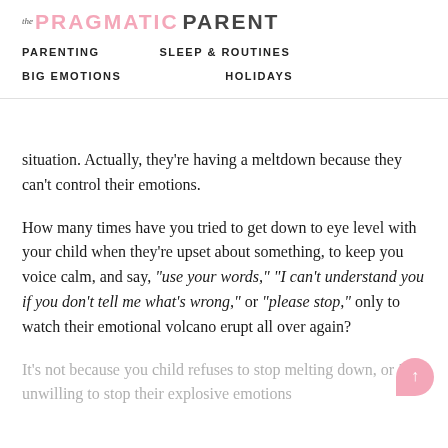[Figure (logo): The Pragmatic Parent logo with colorful 'PRAGMATIC' text and grey 'PARENT' text]
PARENTING   SLEEP & ROUTINES   BIG EMOTIONS   HOLIDAYS
situation. Actually, they're having a meltdown because they can't control their emotions.
How many times have you tried to get down to eye level with your child when they're upset about something, to keep you voice calm, and say, “use your words,” “I can’t understand you if you don’t tell me what’s wrong,” or “please stop,” only to watch their emotional volcano erupt all over again?
It’s not because you child refuses to stop melting down, or is unwilling to stop their explosive emotions